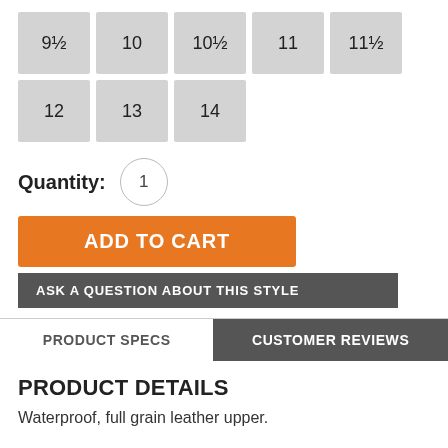9½  10  10½  11  11½  12  13  14 (shoe size selector buttons)
Quantity: 1
ADD TO CART
ASK A QUESTION ABOUT THIS STYLE
PRODUCT SPECS
CUSTOMER REVIEWS
PRODUCT DETAILS
Waterproof, full grain leather upper.